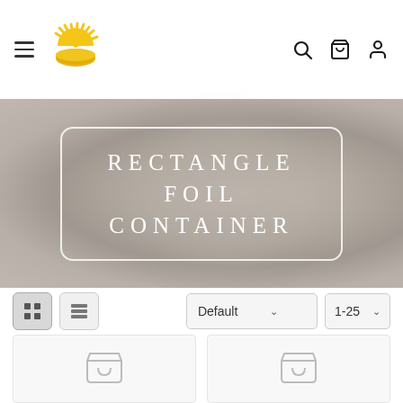[Figure (screenshot): E-commerce website header with hamburger menu, sun logo, search icon, cart icon, and user icon]
[Figure (photo): Banner image with blurred foil container background showing text 'RECTANGLE FOIL CONTAINER' inside a rounded rectangle border]
RECTANGLE FOIL CONTAINER
[Figure (screenshot): Product listing toolbar with grid and list view toggle buttons, Default sort dropdown, and 1-25 per page dropdown]
[Figure (screenshot): Two product card placeholders with shopping cart placeholder icons]